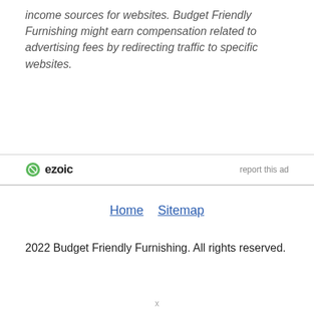income sources for websites. Budget Friendly Furnishing might earn compensation related to advertising fees by redirecting traffic to specific websites.
[Figure (logo): Ezoic logo with circular icon and bold text 'ezoic', alongside 'report this ad' link]
Home  Sitemap
2022 Budget Friendly Furnishing. All rights reserved.